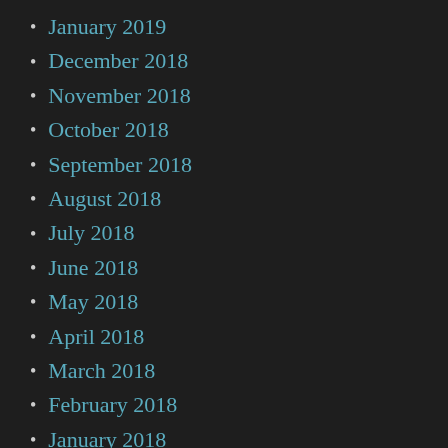January 2019
December 2018
November 2018
October 2018
September 2018
August 2018
July 2018
June 2018
May 2018
April 2018
March 2018
February 2018
January 2018
December 2017
November 2017
October 2017